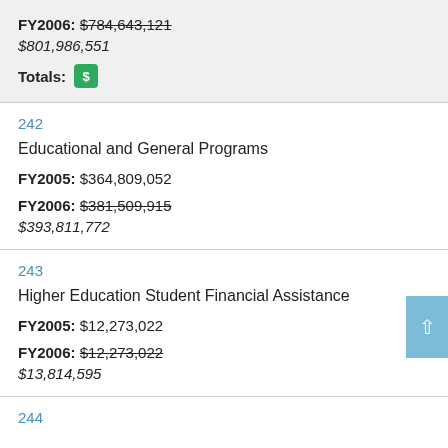FY2006: $784,643,121
$801,986,551
Totals: $
242
Educational and General Programs
FY2005: $364,809,052
FY2006: $381,509,915
$393,811,772
243
Higher Education Student Financial Assistance
FY2005: $12,273,022
FY2006: $12,273,022
$13,814,595
244